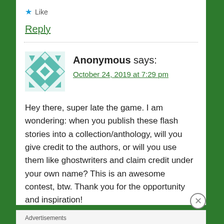★ Like
Reply
Anonymous says:
October 24, 2019 at 7:29 pm
Hey there, super late the game. I am wondering: when you publish these flash stories into a collection/anthology, will you give credit to the authors, or will you use them like ghostwriters and claim credit under your own name? This is an awesome contest, btw. Thank you for the opportunity and inspiration!
Advertisements